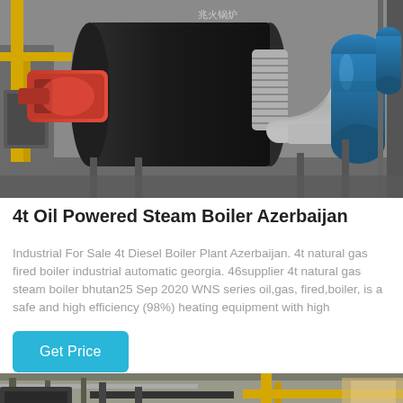[Figure (photo): Industrial oil/gas fired steam boiler with red burner, stainless steel piping, and blue pressure tanks in a factory setting]
4t Oil Powered Steam Boiler Azerbaijan
Industrial For Sale 4t Diesel Boiler Plant Azerbaijan. 4t natural gas fired boiler industrial automatic georgia. 46supplier 4t natural gas steam boiler bhutan25 Sep 2020 WNS series oil,gas, fired,boiler, is a safe and high efficiency (98%) heating equipment with high
Get Price
[Figure (photo): Industrial facility interior showing overhead piping, yellow gas lines, and structural beams]